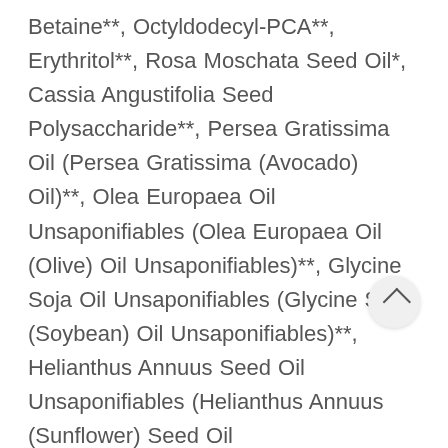Betaine**, Octyldodecyl-PCA**, Erythritol**, Rosa Moschata Seed Oil*, Cassia Angustifolia Seed Polysaccharide**, Persea Gratissima Oil (Persea Gratissima (Avocado) Oil)**, Olea Europaea Oil Unsaponifiables (Olea Europaea Oil (Olive) Oil Unsaponifiables)**, Glycine Soja Oil Unsaponifiables (Glycine Soja (Soybean) Oil Unsaponifiables)**, Helianthus Annuus Seed Oil Unsaponifiables (Helianthus Annuus (Sunflower) Seed Oil Unsaponifiables)**, Phytosterols**, Tocopherol Biosaccharide G 1**, Glycerin**, Xanthan Gum**, Carrageenan**, Oleyl Alcohol**, Citric Acid**, Benzyl Salicylate**, Limonene**, Linalool**, Glyceryl